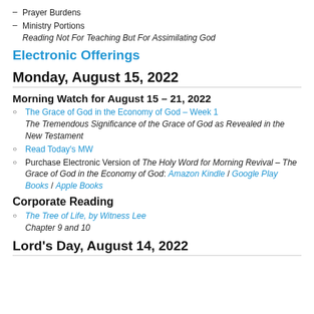– Prayer Burdens
– Ministry Portions
Reading Not For Teaching But For Assimilating God
Electronic Offerings
Monday, August 15, 2022
Morning Watch for August 15 – 21, 2022
The Grace of God in the Economy of God – Week 1
The Tremendous Significance of the Grace of God as Revealed in the New Testament
Read Today's MW
Purchase Electronic Version of The Holy Word for Morning Revival – The Grace of God in the Economy of God: Amazon Kindle / Google Play Books / Apple Books
Corporate Reading
The Tree of Life, by Witness Lee
Chapter 9 and 10
Lord's Day, August 14, 2022